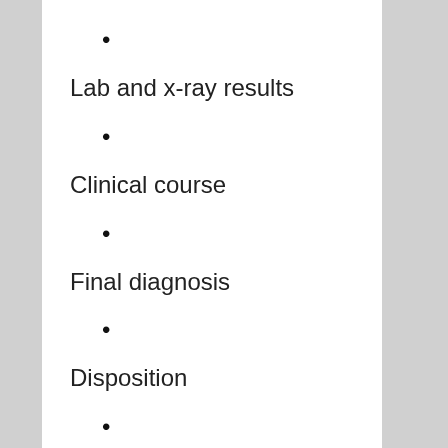•
Lab and x-ray results
•
Clinical course
•
Final diagnosis
•
Disposition
•
e-Prescribing
•
Patient educ…